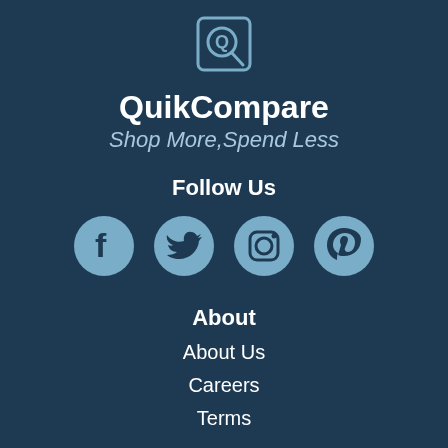[Figure (logo): QuikCompare logo icon - magnifying glass with Q letter in a square frame, light blue outline on dark blue background]
QuikCompare
Shop More,Spend Less
Follow Us
[Figure (infographic): Four social media icons in light blue circles: Facebook, Twitter, Instagram, Pinterest]
About
About Us
Careers
Terms
Save more